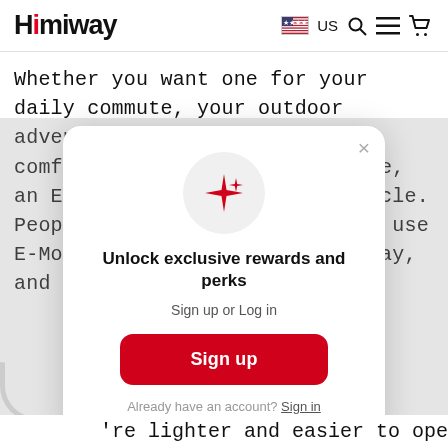Himiway  US
Whether you want one for your daily commute, your outdoor adventures, or your most comfortable exercise experience, an E-Moped is a versatile vehicle. People from all over the world use E-Mopeds to add fun to their day, and here are just a
[Figure (screenshot): Modal popup with sparkle icon, titled 'Unlock exclusive rewards and perks', with 'Sign up or Log in' subtitle, a red 'Sign up' button, and 'Already have an account? Sign in' footer link.]
They're lighter and easier to operate because of